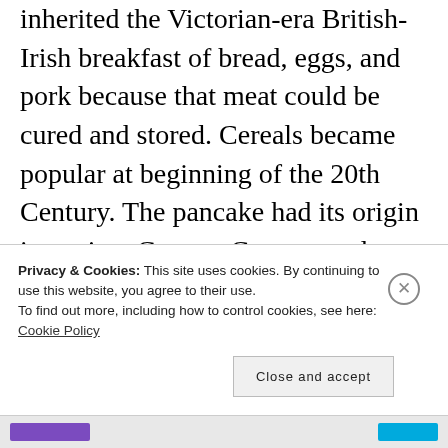inherited the Victorian-era British-Irish breakfast of bread, eggs, and pork because that meat could be cured and stored. Cereals became popular at beginning of the 20th Century. The pancake had its origin in ancient Greece. German and French immigrants brought it here. Doughnuts were served to soldiers during WWI, but they didn't become a breakfast staple until the arrival of Krispy Kreme and
Privacy & Cookies: This site uses cookies. By continuing to use this website, you agree to their use. To find out more, including how to control cookies, see here: Cookie Policy
Close and accept